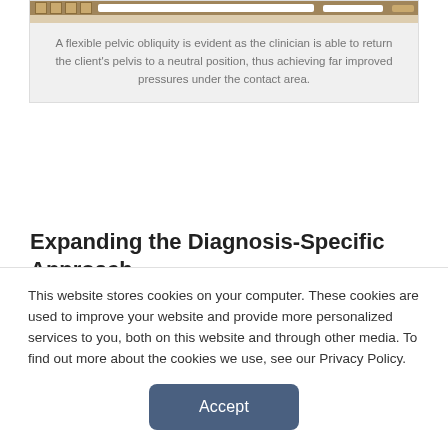[Figure (screenshot): A screenshot of a clinical software interface showing a pressure mapping or seating analysis tool, with a toolbar at the top.]
A flexible pelvic obliquity is evident as the clinician is able to return the client's pelvis to a neutral position, thus achieving far improved pressures under the contact area.
Expanding the Diagnosis-Specific Approach
Advances in manufacturing and engineering have enabled suppliers to develop seating and positioning accessories that are more tailored than ever to the specific needs of a mobility device user. Drive controls are one category where these advances have
This website stores cookies on your computer. These cookies are used to improve your website and provide more personalized services to you, both on this website and through other media. To find out more about the cookies we use, see our Privacy Policy.